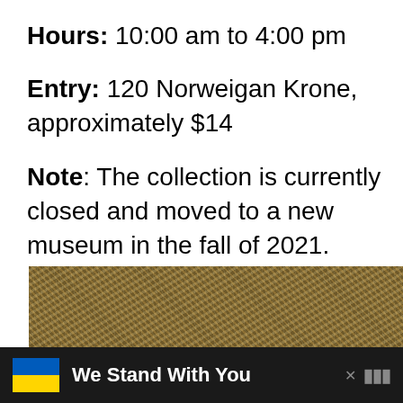Hours: 10:00 am to 4:00 pm
Entry: 120 Norweigan Krone, approximately $14
Note: The collection is currently closed and moved to a new museum in the fall of 2021.
[Figure (photo): Textured abstract painting resembling dense foliage or undergrowth, with browns, tans, and whites — partially visible at the bottom of the page.]
We Stand With You